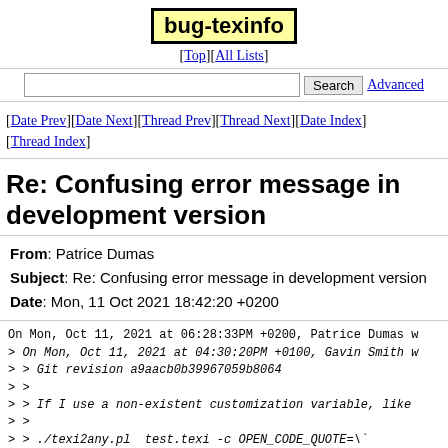bug-texinfo
[Top][All Lists]
Search  Advanced
[Date Prev][Date Next][Thread Prev][Thread Next][Date Index][Thread Index]
Re: Confusing error message in development version
From: Patrice Dumas
Subject: Re: Confusing error message in development version
Date: Mon, 11 Oct 2021 18:42:20 +0200
On Mon, Oct 11, 2021 at 06:28:33PM +0200, Patrice Dumas w
> On Mon, Oct 11, 2021 at 04:30:20PM +0100, Gavin Smith w
> > Git revision a9aacb0b39967059b8064
> >
> > If I use a non-existent customization variable, like
> >
> > ./texi2any.pl  test.texi -c OPEN_CODE_QUOTE=\`
> >